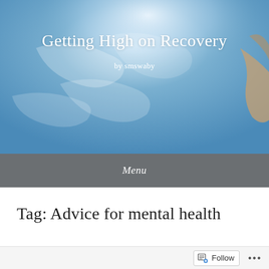[Figure (photo): Blog header image with blue sky and wispy white clouds, partial view of a hand on the right edge holding something]
Getting High on Recovery
by smswaby
Menu
Tag: Advice for mental health
Follow ...